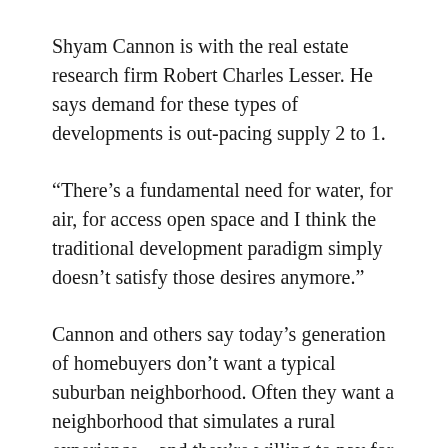Shyam Cannon is with the real estate research firm Robert Charles Lesser. He says demand for these types of developments is out-pacing supply 2 to 1.
“There’s a fundamental need for water, for air, for access open space and I think the traditional development paradigm simply doesn’t satisfy those desires anymore.”
Cannon and others say today’s generation of homebuyers don’t want a typical suburban neighborhood. Often they want a neighborhood that simulates a rural experience – and they’re willing to pay for it.